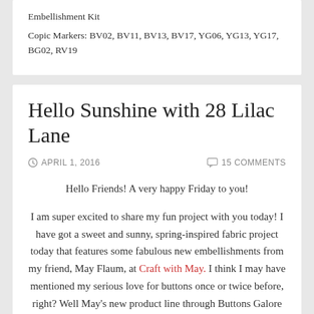Embellishment Kit
Copic Markers: BV02, BV11, BV13, BV17, YG06, YG13, YG17, BG02, RV19
Hello Sunshine with 28 Lilac Lane
APRIL 1, 2016   15 COMMENTS
Hello Friends! A very happy Friday to you!
I am super excited to share my fun project with you today! I have got a sweet and sunny, spring-inspired fabric project today that features some fabulous new embellishments from my friend, May Flaum, at Craft with May. I think I may have mentioned my serious love for buttons once or twice before, right? Well May's new product line through Buttons Galore & More, called 28 Lilac Lane, is filled with the most gorgeous buttons and notions, in a whole rainbow of color. There's buttons, of course, and sequins, as well. Beads and pearls, charms and trims, too. All packaged in the most adorable tins